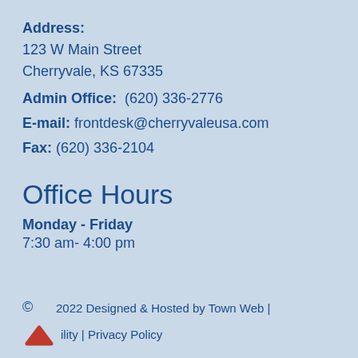Address: 123 W Main Street Cherryvale, KS 67335
Admin Office: (620) 336-2776
E-mail: frontdesk@cherryvaleusa.com
Fax: (620) 336-2104
Office Hours
Monday - Friday
7:30 am- 4:00 pm
© 2022 Designed & Hosted by Town Web | Accessibility | Privacy Policy